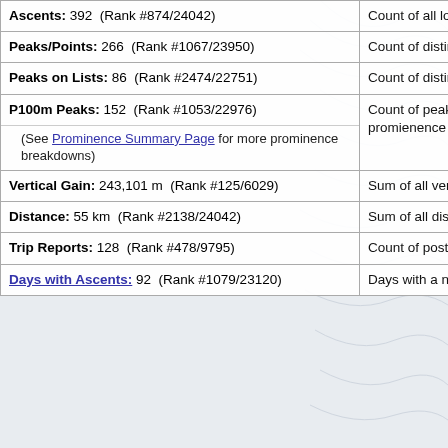| Metric | Description |
| --- | --- |
| Ascents: 392 (Rank #874/24042) | Count of all logged ascents |
| Peaks/Points: 266 (Rank #1067/23950) | Count of distinct peaks/points climbed |
| Peaks on Lists: 86 (Rank #2474/22751) | Count of distinct peaks that are on lists |
| P100m Peaks: 152 (Rank #1053/22976)
(See Prominence Summary Page for more prominence breakdowns) | Count of peaks with 100m of promienence |
| Vertical Gain: 243,101 m (Rank #125/6029) | Sum of all vertical gain hiked |
| Distance: 55 km (Rank #2138/24042) | Sum of all distance hiked |
| Trip Reports: 128 (Rank #478/9795) | Count of posted trip reports |
| Days with Ascents: 92 (Rank #1079/23120) | Days with a new 100m prominence |